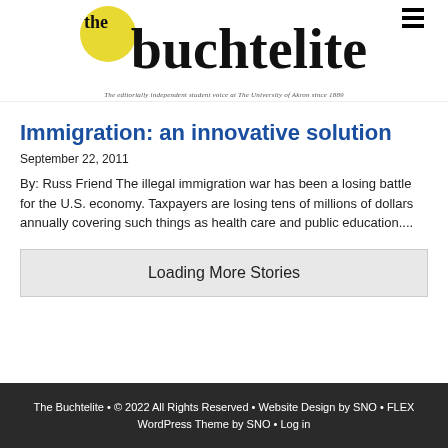the buchtelite — The editorially independent student voice at The University of Akron since 1889
Immigration: an innovative solution
September 22, 2011
By: Russ Friend The illegal immigration war has been a losing battle for the U.S. economy. Taxpayers are losing tens of millions of dollars annually covering such things as health care and public education....
Loading More Stories
The Buchtelite • © 2022 All Rights Reserved • Website Design by SNO • FLEX WordPress Theme by SNO • Log in